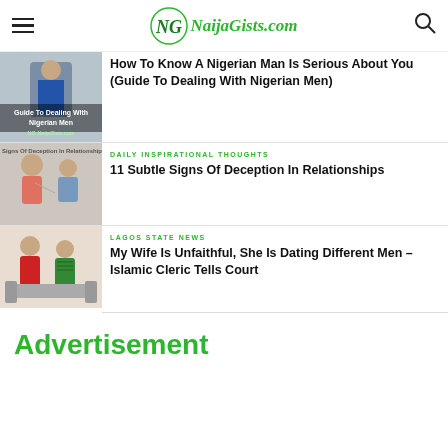NaijaGists.com
How To Know A Nigerian Man Is Serious About You (Guide To Dealing With Nigerian Men)
DAILY INSPIRATIONAL THOUGHTS
11 Subtle Signs Of Deception In Relationships
LAGOS STATE NEWS
My Wife Is Unfaithful, She Is Dating Different Men – Islamic Cleric Tells Court
Advertisement